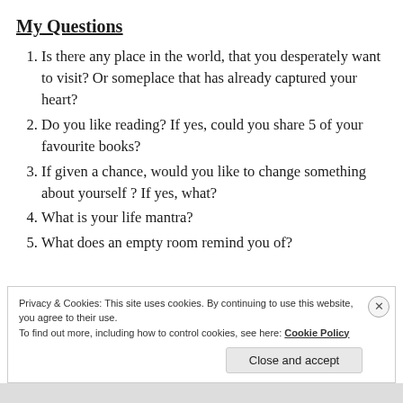My Questions
Is there any place in the world, that you desperately want to visit? Or someplace that has already captured your heart?
Do you like reading? If yes, could you share 5 of your favourite books?
If given a chance, would you like to change something about yourself ? If yes, what?
What is your life mantra?
What does an empty room remind you of?
Privacy & Cookies: This site uses cookies. By continuing to use this website, you agree to their use.
To find out more, including how to control cookies, see here: Cookie Policy
Close and accept